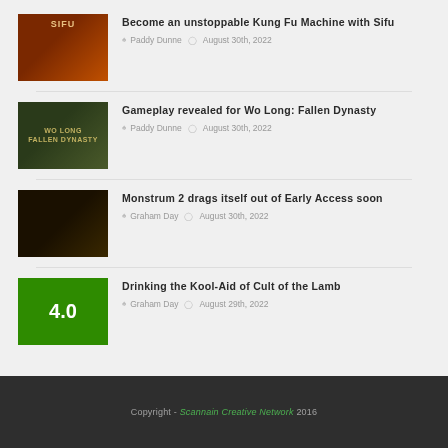[Figure (photo): Sifu game thumbnail - dark orange/red background with figure silhouette]
Become an unstoppable Kung Fu Machine with Sifu
Paddy Dunne  August 30th, 2022
[Figure (photo): Wo Long: Fallen Dynasty game thumbnail - dark green background with logo text]
Gameplay revealed for Wo Long: Fallen Dynasty
Paddy Dunne  August 30th, 2022
[Figure (photo): Monstrum 2 game thumbnail - very dark brownish background]
Monstrum 2 drags itself out of Early Access soon
Graham Day  August 30th, 2022
[Figure (photo): Cult of the Lamb game thumbnail - green background with score 4.0]
Drinking the Kool-Aid of Cult of the Lamb
Graham Day  August 29th, 2022
Copyright - Scannain Creative Network 2016